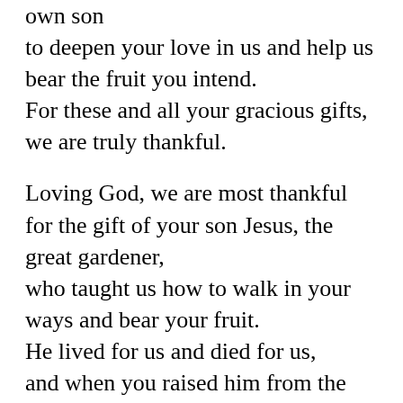own son
to deepen your love in us and help us bear the fruit you intend.
For these and all your gracious gifts, we are truly thankful.
Loving God, we are most thankful for the gift of your son Jesus, the great gardener, who taught us how to walk in your ways and bear your fruit.
He lived for us and died for us,
and when you raised him from the dead,
he gave us too the promise of new life.
Even now he intercedes for us and shows us the possibilities of life with you.